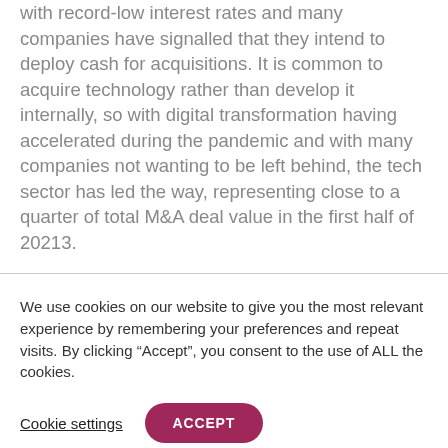with record-low interest rates and many companies have signalled that they intend to deploy cash for acquisitions. It is common to acquire technology rather than develop it internally, so with digital transformation having accelerated during the pandemic and with many companies not wanting to be left behind, the tech sector has led the way, representing close to a quarter of total M&A deal value in the first half of 20213.
We use cookies on our website to give you the most relevant experience by remembering your preferences and repeat visits. By clicking “Accept”, you consent to the use of ALL the cookies.
Cookie settings
ACCEPT